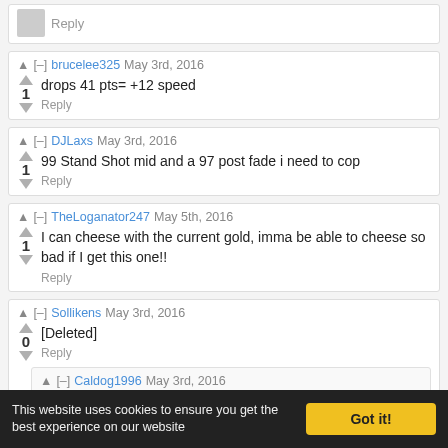Reply (partial top comment)
brucelee325 May 3rd, 2016 — 1 vote — drops 41 pts= +12 speed — Reply
DJLaxs May 3rd, 2016 — 1 vote — 99 Stand Shot mid and a 97 post fade i need to cop — Reply
TheLoganator247 May 5th, 2016 — 1 vote — I can cheese with the current gold, imma be able to cheese so bad if I get this one!! — Reply
Sollikens May 3rd, 2016 — 0 votes — [Deleted] — Reply
Caldog1996 May 3rd, 2016 — 0 votes — Imagine how expensive this card will be — Reply
This website uses cookies to ensure you get the best experience on our website   Got it!